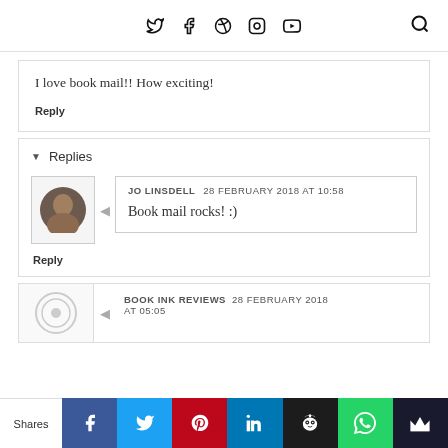Social media icons and search
I love book mail!! How exciting!
Reply
Replies
JO LINSDELL  28 FEBRUARY 2018 AT 10:58
Book mail rocks! :)
Reply
BOOK INK REVIEWS  28 FEBRUARY 2018 AT 05:05
Shares | Facebook | Twitter | Pinterest | LinkedIn | Hootsuite | WhatsApp | Crown